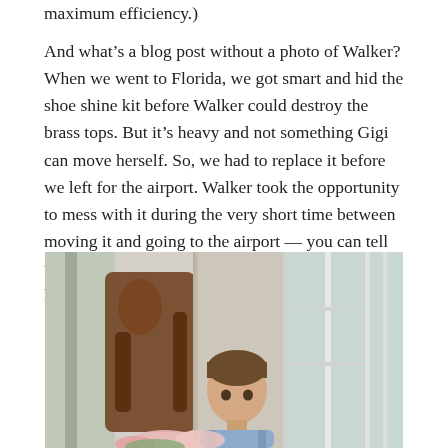maximum efficiency.)
And what's a blog post without a photo of Walker? When we went to Florida, we got smart and hid the shoe shine kit before Walker could destroy the brass tops. But it's heavy and not something Gigi can move herself. So, we had to replace it before we left for the airport. Walker took the opportunity to mess with it during the very short time between moving it and going to the airport — you can tell we're on our way soon since Walker was donning his backpack filled with toy.
[Figure (photo): A young boy with short brown hair stands in a room near a wooden chair and large windows, wearing a backpack, with flowers visible in the foreground.]